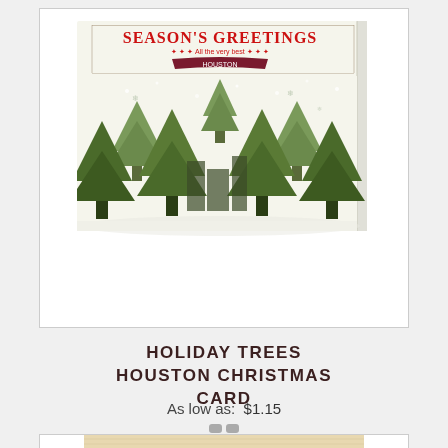[Figure (photo): A holiday Christmas card showing Season's Greetings text in red at top, with silhouetted green Christmas trees and city buildings in the background on a cream/white card background. The card is shown propped open at an angle.]
HOLIDAY TREES HOUSTON CHRISTMAS CARD
As low as:  $1.15
[Figure (photo): Bottom portion of a second Christmas card visible, showing a wooden texture background with a circular 'Merry' badge design in red/brown with green foliage accent.]